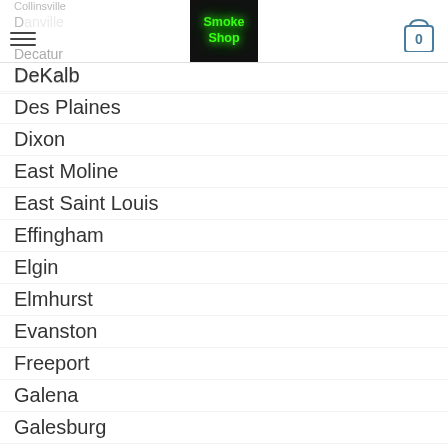Smoke Shop — navigation header with hamburger menu and cart
Collinsville
Danville
Decatur
DeKalb
Des Plaines
Dixon
East Moline
East Saint Louis
Effingham
Elgin
Elmhurst
Evanston
Freeport
Galena
Galesburg
Glen Ellyn
Glenview
Granite City